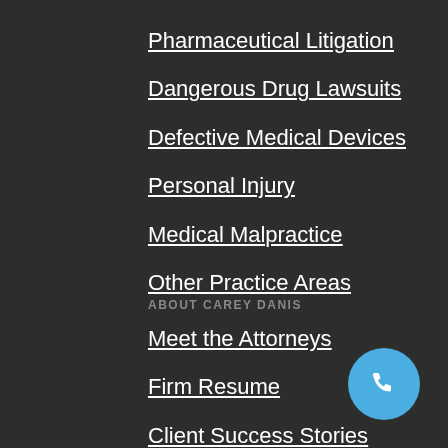Pharmaceutical Litigation
Dangerous Drug Lawsuits
Defective Medical Devices
Personal Injury
Medical Malpractice
Other Practice Areas
ABOUT CAREY DANIS
Meet the Attorneys
Firm Resume
Client Success Stories
[Figure (illustration): Blue circular phone call button icon in bottom-right corner]